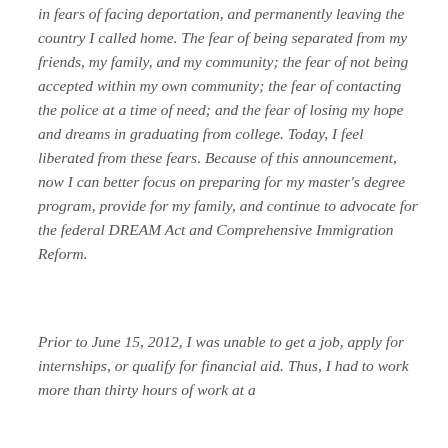in fears of facing deportation, and permanently leaving the country I called home. The fear of being separated from my friends, my family, and my community; the fear of not being accepted within my own community; the fear of contacting the police at a time of need; and the fear of losing my hope and dreams in graduating from college. Today, I feel liberated from these fears. Because of this announcement, now I can better focus on preparing for my master's degree program, provide for my family, and continue to advocate for the federal DREAM Act and Comprehensive Immigration Reform.
Prior to June 15, 2012, I was unable to get a job, apply for internships, or qualify for financial aid. Thus, I had to work more than thirty hours of work at a...